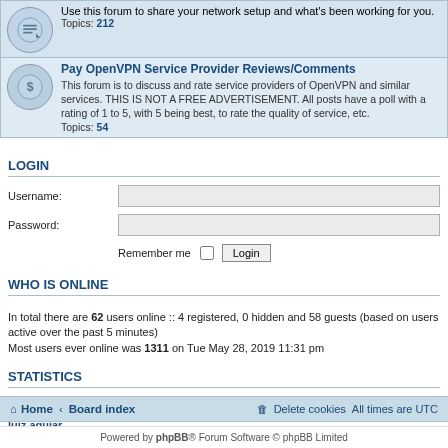Use this forum to share your network setup and what's been working for you. Topics: 212
Pay OpenVPN Service Provider Reviews/Comments
This forum is to discuss and rate service providers of OpenVPN and similar services. THIS IS NOT A FREE ADVERTISEMENT. All posts have a poll with a rating of 1 to 5, with 5 being best, to rate the quality of service, etc. Topics: 54
LOGIN
Username:
Password:
Remember me  Login
WHO IS ONLINE
In total there are 62 users online :: 4 registered, 0 hidden and 58 guests (based on users active over the past 5 minutes) Most users ever online was 1311 on Tue May 28, 2019 11:31 pm
STATISTICS
Total posts 92634 • Total topics 25181 • Total members 44701 • Our newest member luiz.aguiar
Home · Board index   Delete cookies  All times are UTC
Powered by phpBB® Forum Software © phpBB Limited